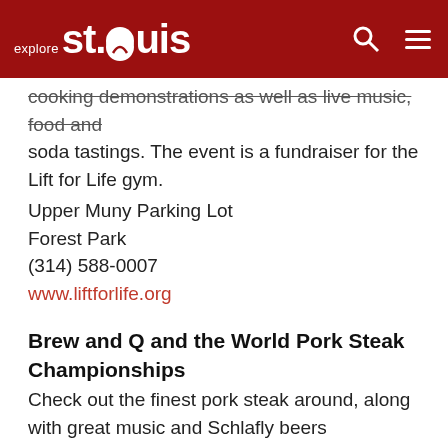explore st.louis
cooking demonstrations as well as live music, food and soda tastings. The event is a fundraiser for the Lift for Life gym.
Upper Muny Parking Lot
Forest Park
(314) 588-0007
www.liftforlife.org
Brew and Q and the World Pork Steak Championships
Check out the finest pork steak around, along with great music and Schlafly beers
Schlafly Bottleworks
7260 Southwest Avenue, Maplewood
314-241-2337
www.schlafly.com